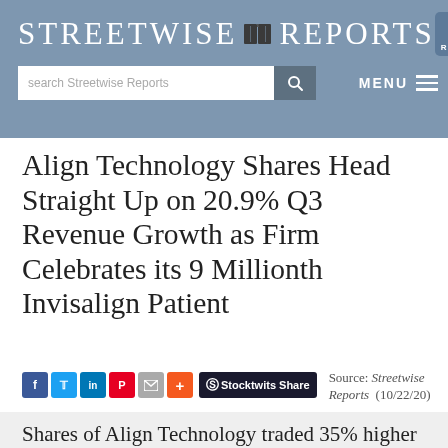Streetwise Reports
Align Technology Shares Head Straight Up on 20.9% Q3 Revenue Growth as Firm Celebrates its 9 Millionth Invisalign Patient
Source: Streetwise Reports (10/22/20)
Shares of Align Technology traded 35% higher and climbed to a new 52-week